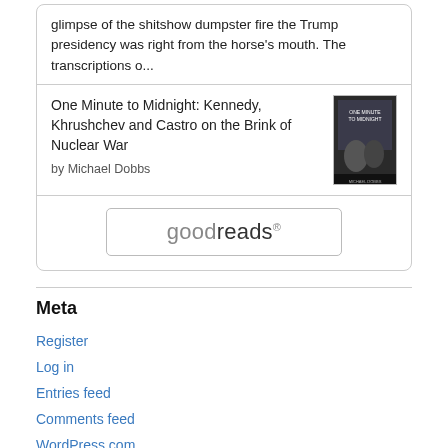glimpse of the shitshow dumpster fire the Trump presidency was right from the horse's mouth. The transcriptions o...
One Minute to Midnight: Kennedy, Khrushchev and Castro on the Brink of Nuclear War
by Michael Dobbs
[Figure (illustration): Book cover for 'One Minute to Midnight' showing dark cover with figures]
[Figure (logo): Goodreads logo button]
Meta
Register
Log in
Entries feed
Comments feed
WordPress.com